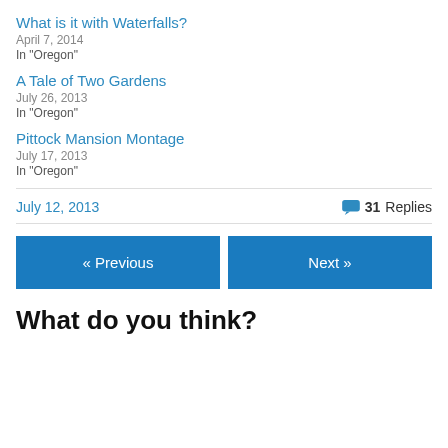What is it with Waterfalls?
April 7, 2014
In "Oregon"
A Tale of Two Gardens
July 26, 2013
In "Oregon"
Pittock Mansion Montage
July 17, 2013
In "Oregon"
July 12, 2013     💬 31 Replies
« Previous   Next »
What do you think?